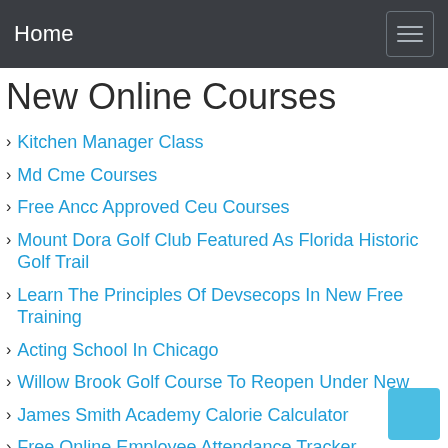Home
New Online Courses
Kitchen Manager Class
Md Cme Courses
Free Ancc Approved Ceu Courses
Mount Dora Golf Club Featured As Florida Historic Golf Trail
Learn The Principles Of Devsecops In New Free Training
Acting School In Chicago
Willow Brook Golf Course To Reopen Under New
James Smith Academy Calorie Calculator
Free Online Employee Attendance Tracker
Mount Pleasant High School Mount Pleasant Nc